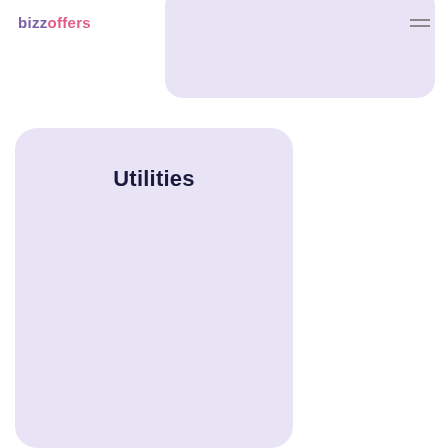bizzoffers
[Figure (illustration): Partially visible lavender rounded card in upper right area]
Utilities